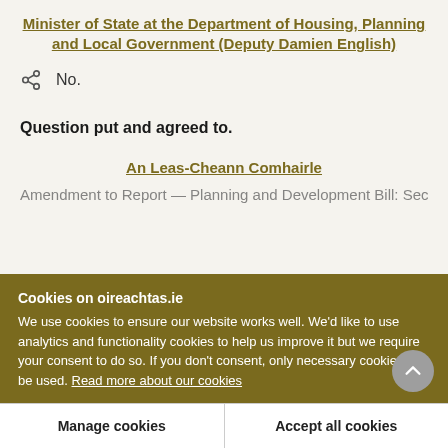Minister of State at the Department of Housing, Planning and Local Government (Deputy Damien English)
No.
Question put and agreed to.
An Leas-Cheann Comhairle
[partial line cut off]
Cookies on oireachtas.ie
We use cookies to ensure our website works well. We'd like to use analytics and functionality cookies to help us improve it but we require your consent to do so. If you don't consent, only necessary cookies will be used. Read more about our cookies
Manage cookies | Accept all cookies